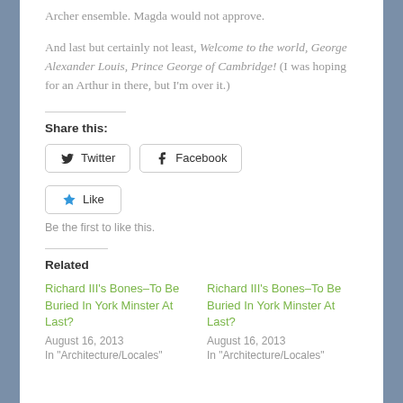Archer ensemble. Magda would not approve.
And last but certainly not least, Welcome to the world, George Alexander Louis, Prince George of Cambridge!  (I was hoping for an Arthur in there, but I'm over it.)
Share this:
Twitter  Facebook
Like  Be the first to like this.
Related
Richard III's Bones–To Be Buried In York Minster At Last?
August 16, 2013
In 'Architecture/Locales'
Richard III's Bones–To Be Buried In York Minster At Last?
August 16, 2013
In 'Architecture/Locales'